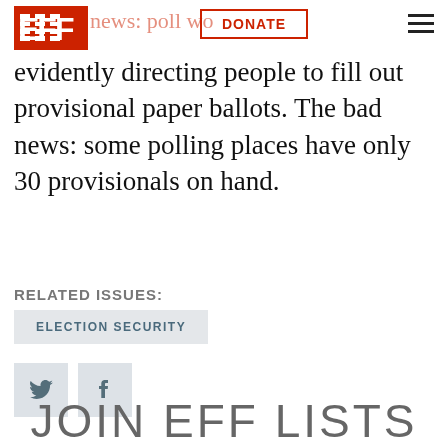EFF | news: poll workers | DONATE
evidently directing people to fill out provisional paper ballots. The bad news: some polling places have only 30 provisionals on hand.
RELATED ISSUES:
ELECTION SECURITY
[Figure (other): Twitter and Facebook social share icons]
JOIN EFF LISTS